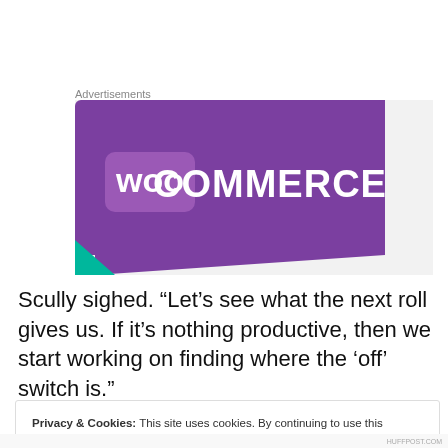Advertisements
[Figure (logo): WooCommerce advertisement banner with purple background and white logo text]
Scully sighed. “Let’s see what the next roll gives us. If it’s nothing productive, then we start working on finding where the ‘off’ switch is.”
Privacy & Cookies: This site uses cookies. By continuing to use this website, you agree to their use.
To find out more, including how to control cookies, see here: Cookie Policy